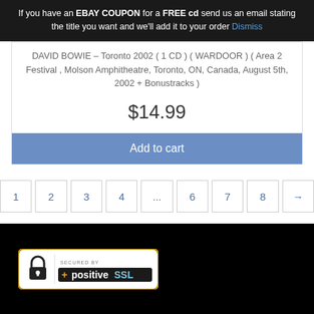If you have an EBAY COUPON for a FREE cd send us an email stating the title you want and we'll add it to your order Dismiss
DAVID BOWIE – Toronto 2002 ( 1 CD ) ( WARDOOR ) ( Area 2 Festival , Molson Amphitheatre, Toronto, ON, Canada, August 5th, 2002 + Bonustracks )
$14.99
Add to cart
1 2 3 4 ... 6 7 8 →
[Figure (logo): PositiveSSL secured by badge with padlock icon]
© 2022 Thecdvault